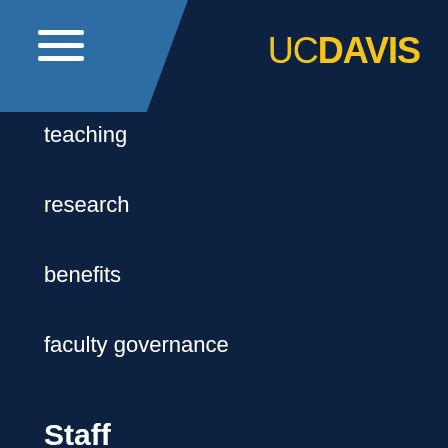[Figure (logo): UC Davis header with hamburger menu icon on blue panel and UC DAVIS wordmark in gold on dark navy background]
teaching
research
benefits
faculty governance
Staff
resources
training